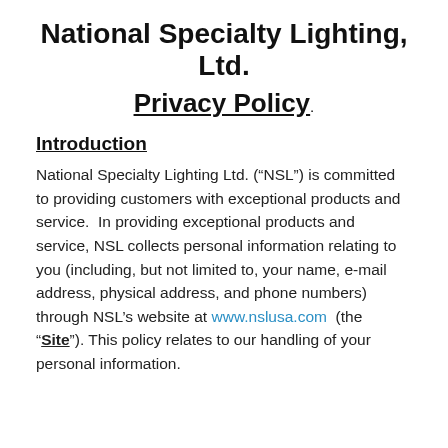National Specialty Lighting, Ltd.
Privacy Policy
Introduction
National Specialty Lighting Ltd. (“NSL”) is committed to providing customers with exceptional products and service.  In providing exceptional products and service, NSL collects personal information relating to you (including, but not limited to, your name, e-mail address, physical address, and phone numbers) through NSL’s website at www.nslusa.com  (the “Site”). This policy relates to our handling of your personal information.